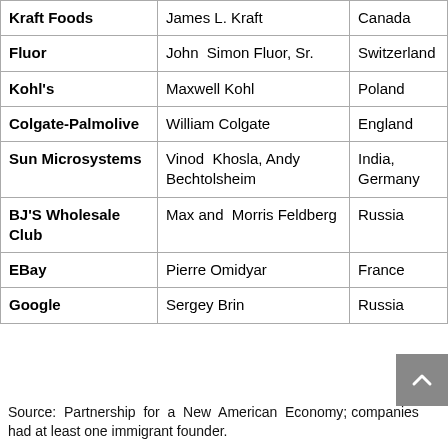| Company | Founder(s) | Origin Country |
| --- | --- | --- |
| Kraft Foods | James L. Kraft | Canada |
| Fluor | John Simon Fluor, Sr. | Switzerland |
| Kohl's | Maxwell Kohl | Poland |
| Colgate-Palmolive | William Colgate | England |
| Sun Microsystems | Vinod Khosla, Andy Bechtolsheim | India, Germany |
| BJ'S Wholesale Club | Max and Morris Feldberg | Russia |
| EBay | Pierre Omidyar | France |
| Google | Sergey Brin | Russia |
Source: Partnership for a New American Economy; companies had at least one immigrant founder.